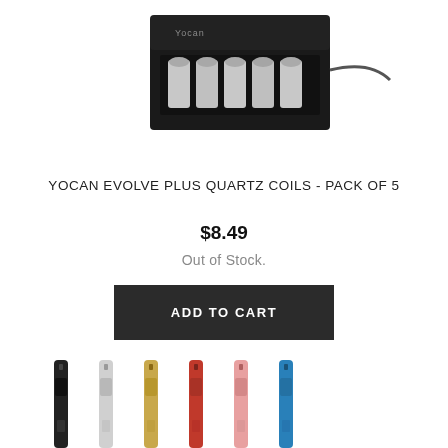[Figure (photo): Product photo of Yocan Evolve Plus Quartz Coils pack of 5 in a black box with coils visible, cropped at top]
YOCAN EVOLVE PLUS QUARTZ COILS - PACK OF 5
$8.49
Out of Stock.
ADD TO CART
[Figure (photo): Product photo showing 6 vape pen devices in different colors: black, silver/white, gold, red, rose/pink, and blue, cropped showing lower portion]